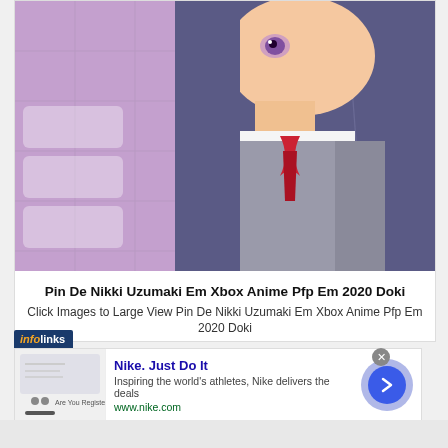[Figure (illustration): Anime character illustration - a girl with long dark purple/blue hair wearing a grey school uniform jacket with a red ribbon/tie, set against a purple grid background. The image is cropped to show the character from roughly the shoulders up, with her head tilted slightly.]
Pin De Nikki Uzumaki Em Xbox Anime Pfp Em 2020 Doki
Click Images to Large View Pin De Nikki Uzumaki Em Xbox Anime Pfp Em 2020 Doki
infolinks
Nike. Just Do It
Inspiring the world's athletes, Nike delivers the deals
www.nike.com